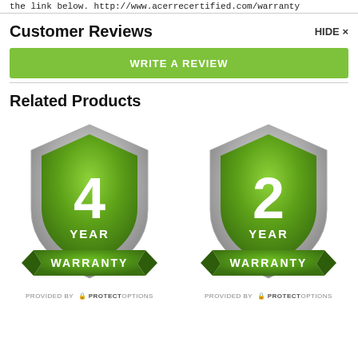the link below. http://www.acerrecertified.com/warranty
Customer Reviews
HIDE ×
WRITE A REVIEW
Related Products
[Figure (logo): 4 Year Warranty shield badge, provided by ProtectOptions]
[Figure (logo): 2 Year Warranty shield badge, provided by ProtectOptions]